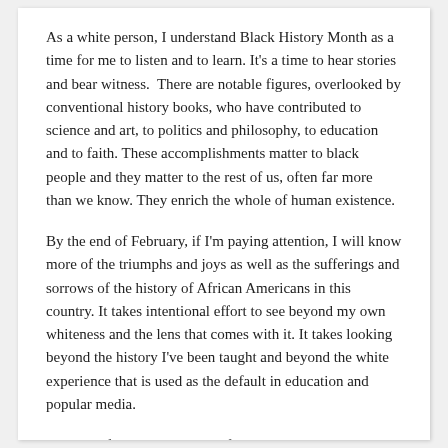As a white person, I understand Black History Month as a time for me to listen and to learn. It’s a time to hear stories and bear witness.  There are notable figures, overlooked by conventional history books, who have contributed to science and art, to politics and philosophy, to education and to faith. These accomplishments matter to black people and they matter to the rest of us, often far more than we know. They enrich the whole of human existence.
By the end of February, if I’m paying attention, I will know more of the triumphs and joys as well as the sufferings and sorrows of the history of African Americans in this country. It takes intentional effort to see beyond my own whiteness and the lens that comes with it. It takes looking beyond the history I’ve been taught and beyond the white experience that is used as the default in education and popular media.
The call of Lent and the call of Black History Month have a lot in common.
Lent is a season for listening and for learning. It’s a time to